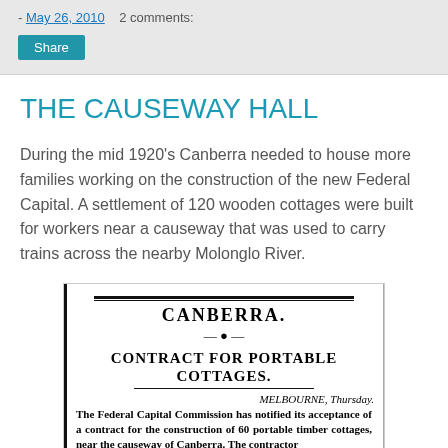- May 26, 2010    2 comments:
Share
THE CAUSEWAY HALL
During the mid 1920's Canberra needed to house more families working on the construction of the new Federal Capital. A settlement of 120 wooden cottages were built for workers near a causeway that was used to carry trains across the nearby Molonglo River.
[Figure (photo): Newspaper clipping with headline 'CANBERRA. CONTRACT FOR PORTABLE COTTAGES.' and body text beginning 'MELBOURNE, Thursday. The Federal Capital Commission has notified its acceptance of a contract for the construction of 60 portable timber cottages, near the causeway of Canberra. The contractor...']